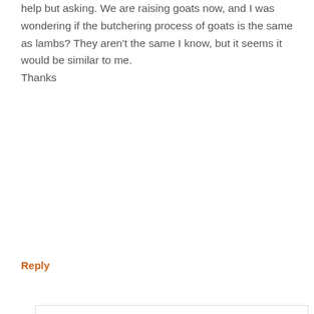help but asking. We are raising goats now, and I was wondering if the butchering process of goats is the same as lambs? They aren't the same I know, but it seems it would be similar to me.
Thanks
Reply
DaNelle Wolford
says
NOVEMBER 5, 2016 AT 10:11 PM
Hi Eva, yes it's exactly the same :)